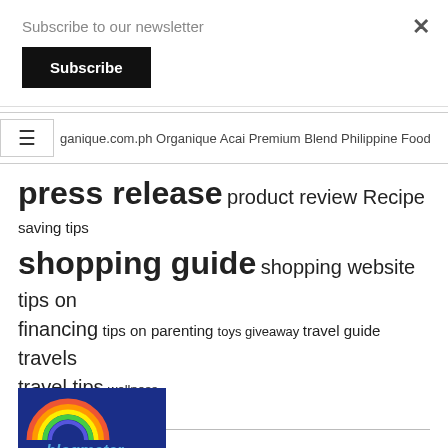Subscribe to our newsletter
Subscribe
× (close button)
ganique.com.ph Organique Acai Premium Blend Philippine Food press release product review Recipe saving tips shopping guide shopping website tips on financing tips on parenting toys giveaway travel guide travels travel tips wellness
Blog Stats
40,785 hits
[Figure (logo): Blogmeter badge/logo with rainbow arc and blue background, showing 'blogmeter' text and 'Ranked # 106' text]